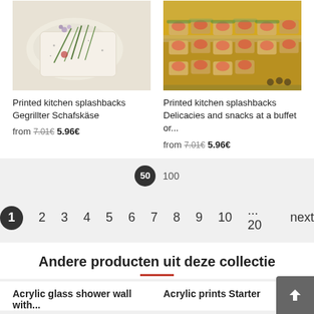[Figure (photo): Photo of grilled Schafskäse (sheep's cheese) with rosemary and herbs on white paper]
Printed kitchen splashbacks Gegrillter Schafskäse
from 7.01€ 5.96€
[Figure (photo): Photo of delicacies and snacks at a buffet — assorted canapés with smoked salmon, herbs, and toppings on a tray]
Printed kitchen splashbacks Delicacies and snacks at a buffet or...
from 7.01€ 5.96€
50  100
1  2  3  4  5  6  7  8  9  10  ... 20  next
Andere producten uit deze collectie
Acrylic glass shower wall with...
Acrylic prints Starter